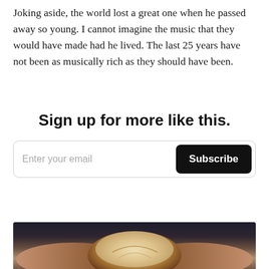Joking aside, the world lost a great one when he passed away so young. I cannot imagine the music that they would have made had he lived. The last 25 years have not been as musically rich as they should have been.
Sign up for more like this.
[Figure (other): Email subscription form with a text input placeholder 'Enter your email' and a black 'Subscribe' button with rounded corners]
[Figure (photo): A person holding a round artisan bread loaf with both hands, dark background visible at top]